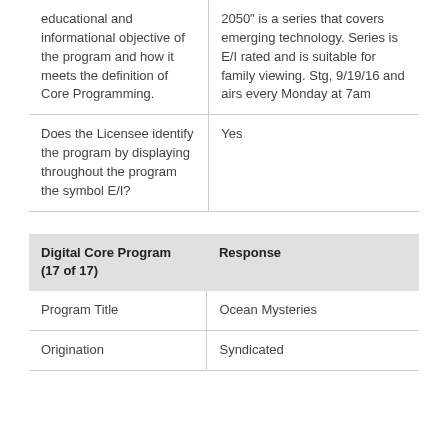| educational and informational objective of the program and how it meets the definition of Core Programming. | 2050" is a series that covers emerging technology. Series is E/I rated and is suitable for family viewing. Stg, 9/19/16 and airs every Monday at 7am |
| Does the Licensee identify the program by displaying throughout the program the symbol E/I? | Yes |
| Digital Core Program (17 of 17) | Response |
| --- | --- |
| Program Title | Ocean Mysteries |
| Origination | Syndicated |